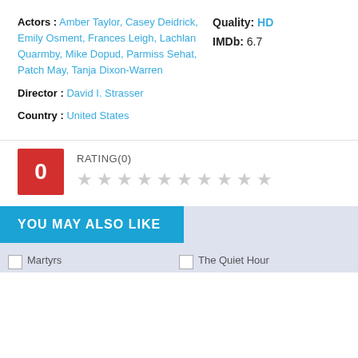Actors : Amber Taylor, Casey Deidrick, Emily Osment, Frances Leigh, Lachlan Quarmby, Mike Dopud, Parmiss Sehat, Patch May, Tanja Dixon-Warren
Quality: HD
IMDb: 6.7
Director : David I. Strasser
Country : United States
RATING(0)
YOU MAY ALSO LIKE
[Figure (photo): Martyrs thumbnail image placeholder]
[Figure (photo): The Quiet Hour thumbnail image placeholder]